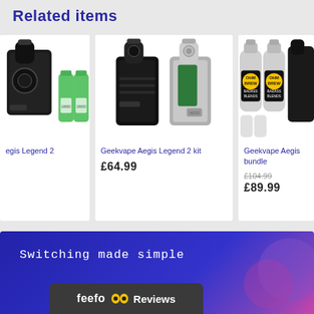Related items
[Figure (photo): Product card 1 (partial): Geekvape Aegis Legend 2 with batteries image, partially visible on the left edge]
egis Legend 2
[Figure (photo): Product card 2 (center, full): Geekvape Aegis Legend 2 kit - two vape mod devices in black and silver/green colorways]
Geekvape Aegis Legend 2 kit
£64.99
[Figure (photo): Product card 3 (partial, right): Geekvape Aegis bundle with e-liquid bottles (Ohm Brew Badass Blends), partially cut off on right]
Geekvape Aegis bundle
£104.99
£89.99
[Figure (infographic): Blue/purple gradient banner with text 'Switching made simple' and a dark Feefo Reviews badge at the bottom center]